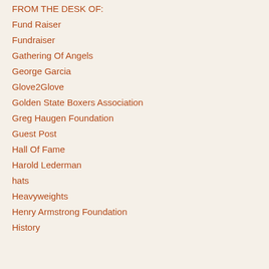FROM THE DESK OF:
Fund Raiser
Fundraiser
Gathering Of Angels
George Garcia
Glove2Glove
Golden State Boxers Association
Greg Haugen Foundation
Guest Post
Hall Of Fame
Harold Lederman
hats
Heavyweights
Henry Armstrong Foundation
History